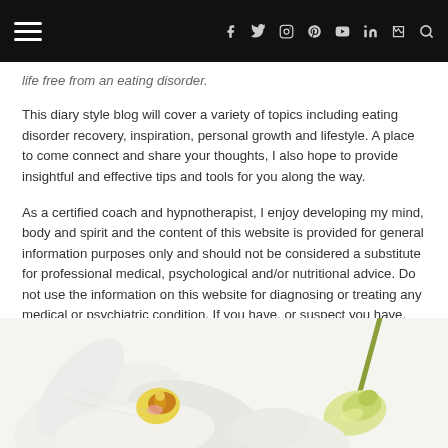[navigation bar with hamburger menu and social icons: f, twitter, instagram, pinterest, youtube, linkedin, rss, search]
life free from an eating disorder.
This diary style blog will cover a variety of topics including eating disorder recovery, inspiration, personal growth and lifestyle. A place to come connect and share your thoughts, I also hope to provide insightful and effective tips and tools for you along the way.
As a certified coach and hypnotherapist, I enjoy developing my mind, body and spirit and the content of this website is provided for general information purposes only and should not be considered a substitute for professional medical, psychological and/or nutritional advice. Do not use the information on this website for diagnosing or treating any medical or psychiatric condition. If you have, or suspect you have, any symptoms requiring attention, promptly contact your healthcare provider.
[Figure (photo): White orchid flowers on a white background, partially visible at the bottom of the page.]